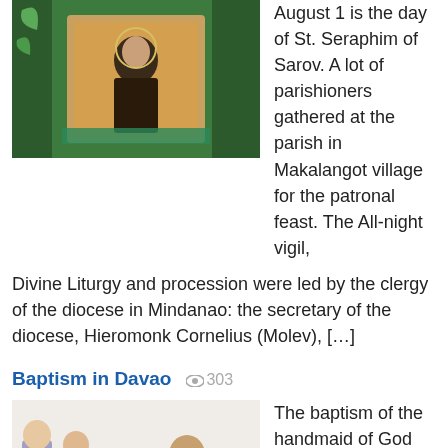[Figure (photo): Photo of a religious icon in a green-draped frame at a church/parish]
August 1 is the day of St. Seraphim of Sarov. A lot of parishioners gathered at the parish in Makalangot village for the patronal feast. The All-night vigil, Divine Liturgy and procession were led by the clergy of the diocese in Mindanao: the secretary of the diocese, Hieromonk Cornelius (Molev), […]
Baptism in Davao
303 views
[Figure (photo): Photo of a baptism ceremony taking place at a church parish]
The baptism of the handmaid of God Mary took place in Davao at the parish of St Matrona of Moscow today. Congratulations to the born from water and Spirit for the new life!
Russian Ambassador met with the Secretary of the Diocese
261 views
[Figure (photo): Photo of a meeting between Russian Ambassador and Diocese Secretary]
Russian Ambassador to the